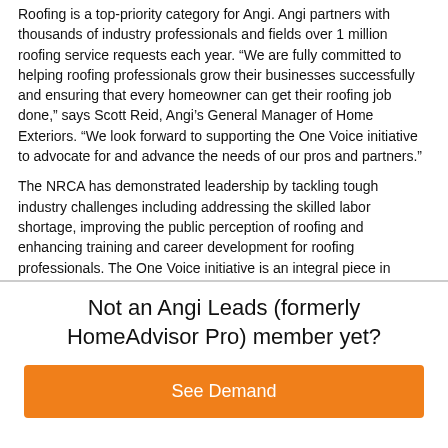Roofing is a top-priority category for Angi. Angi partners with thousands of industry professionals and fields over 1 million roofing service requests each year. “We are fully committed to helping roofing professionals grow their businesses successfully and ensuring that every homeowner can get their roofing job done,” says Scott Reid, Angi’s General Manager of Home Exteriors. “We look forward to supporting the One Voice initiative to advocate for and advance the needs of our pros and partners.”
The NRCA has demonstrated leadership by tackling tough industry challenges including addressing the skilled labor shortage, improving the public perception of roofing and enhancing training and career development for roofing professionals. The One Voice initiative is an integral piece in
Not an Angi Leads (formerly HomeAdvisor Pro) member yet?
See Demand